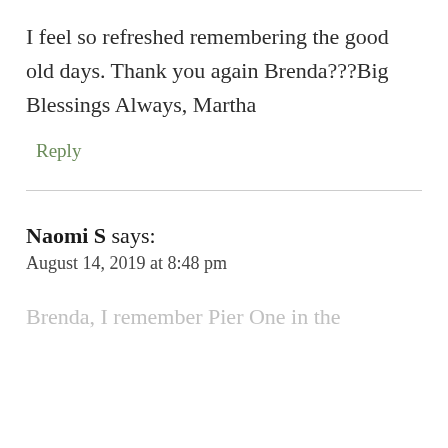I feel so refreshed remembering the good old days. Thank you again Brenda???Big Blessings Always, Martha
Reply
Naomi S says:
August 14, 2019 at 8:48 pm
Brenda, I remember Pier One in the